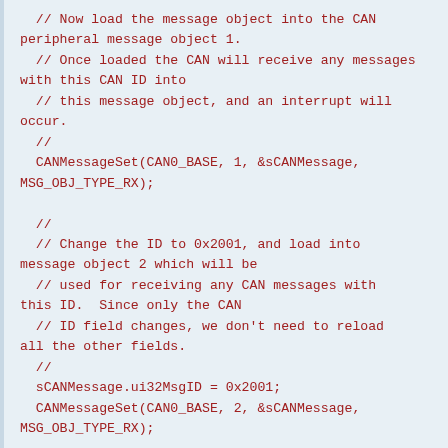// Now load the message object into the CAN peripheral message object 1.
  // Once loaded the CAN will receive any messages with this CAN ID into
  // this message object, and an interrupt will occur.
  //
  CANMessageSet(CAN0_BASE, 1, &sCANMessage, MSG_OBJ_TYPE_RX);

  //
  // Change the ID to 0x2001, and load into message object 2 which will be
  // used for receiving any CAN messages with this ID.  Since only the CAN
  // ID field changes, we don't need to reload all the other fields.
  //
  sCANMessage.ui32MsgID = 0x2001;
  CANMessageSet(CAN0_BASE, 2, &sCANMessage, MSG_OBJ_TYPE_RX);